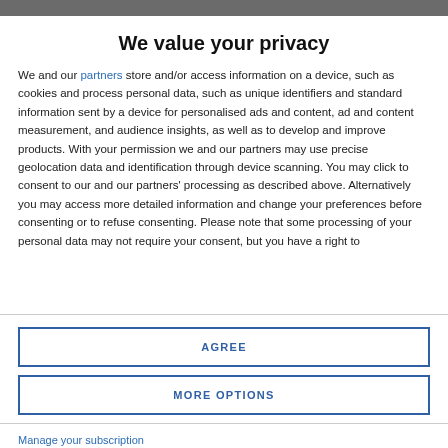We value your privacy
We and our partners store and/or access information on a device, such as cookies and process personal data, such as unique identifiers and standard information sent by a device for personalised ads and content, ad and content measurement, and audience insights, as well as to develop and improve products. With your permission we and our partners may use precise geolocation data and identification through device scanning. You may click to consent to our and our partners' processing as described above. Alternatively you may access more detailed information and change your preferences before consenting or to refuse consenting. Please note that some processing of your personal data may not require your consent, but you have a right to
AGREE
MORE OPTIONS
Manage your subscription